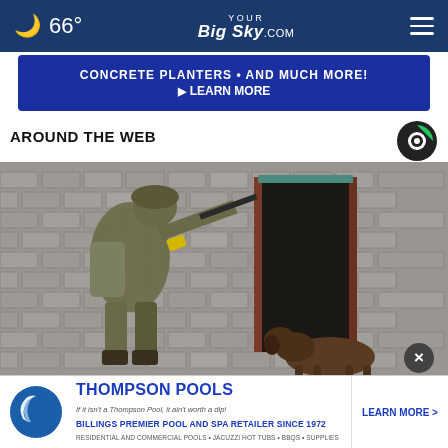66° YOUR BigSky.COM
[Figure (other): Advertisement banner: CONCRETE PLANTERS • AND MUCH MORE! ▶ LEARN MORE]
AROUND THE WEB
[Figure (photo): Soldier in military gear aiming rifle near brick building doorway with dog]
[Figure (other): Thompson Pools advertisement: BILLINGS PREMIER POOL AND SPA RETAILER SINCE 1972 - LEARN MORE >]